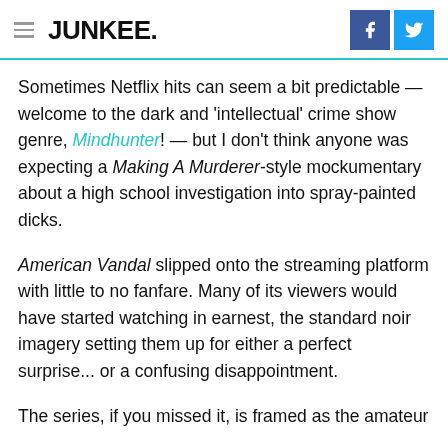JUNKEE.
Sometimes Netflix hits can seem a bit predictable — welcome to the dark and 'intellectual' crime show genre, Mindhunter! — but I don't think anyone was expecting a Making A Murderer-style mockumentary about a high school investigation into spray-painted dicks.
American Vandal slipped onto the streaming platform with little to no fanfare. Many of its viewers would have started watching in earnest, the standard noir imagery setting them up for either a perfect surprise... or a confusing disappointment.
The series, if you missed it, is framed as the amateur